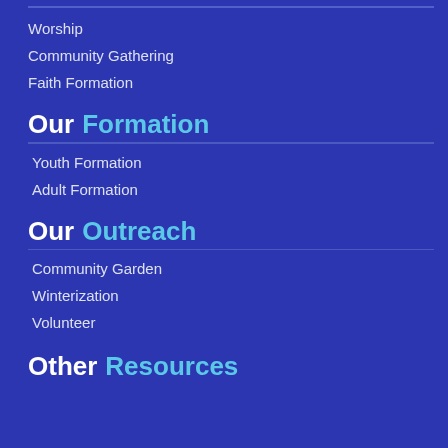Worship
Community Gathering
Faith Formation
Our Formation
Youth Formation
Adult Formation
Our Outreach
Community Garden
Winterization
Volunteer
Other Resources